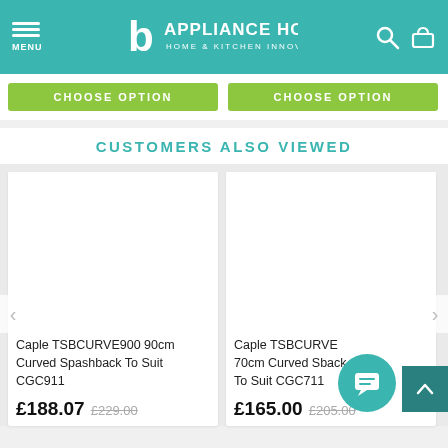Appliance House - Home & Kitchen Innovation
CHOOSE OPTION | CHOOSE OPTION
CUSTOMERS ALSO VIEWED
Caple TSBCURVE900 90cm Curved Spashback To Suit CGC911 £188.07 £229.00
Caple TSBCURVE700 70cm Curved Spashback To Suit CGC711 £165.00 £205.00